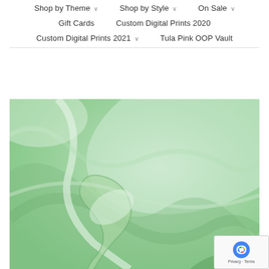Shop by Theme ∨   Shop by Style ∨   On Sale ∨
Gift Cards   Custom Digital Prints 2020
Custom Digital Prints 2021 ∨   Tula Pink OOP Vault
[Figure (photo): Close-up photo of light mint/sage green fabric with flowing folds and drapes, showing soft textile texture.]
[Figure (other): reCAPTCHA badge with Privacy and Terms links]